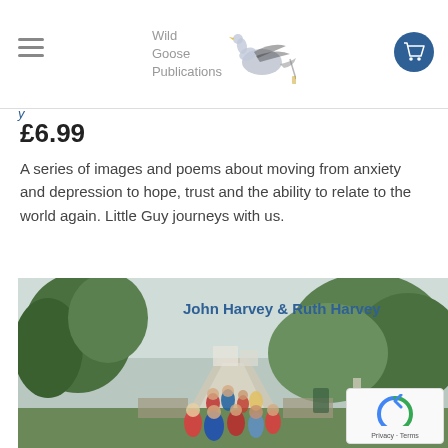Wild Goose Publications
£6.99
A series of images and poems about moving from anxiety and depression to hope, trust and the ability to relate to the world again. Little Guy journeys with us.
[Figure (photo): Book cover photo showing a group of people walking along a rural lane lined with trees and hedges, viewed from behind. The text 'John Harvey & Ruth Harvey' appears in blue on the image.]